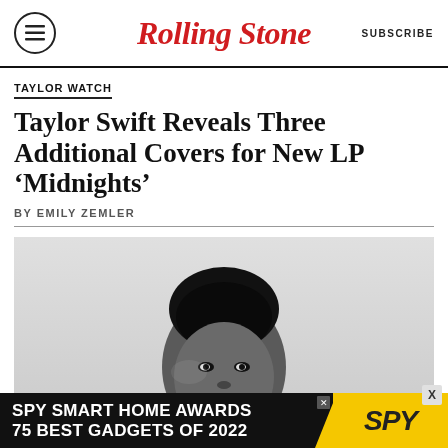Rolling Stone | SUBSCRIBE
TAYLOR WATCH
Taylor Swift Reveals Three Additional Covers for New LP ‘Midnights’
BY EMILY ZEMLER
[Figure (photo): Black and white portrait photograph of a young Black man looking directly at the camera, wearing a dark shirt, against a light background.]
SPY SMART HOME AWARDS 75 BEST GADGETS OF 2022